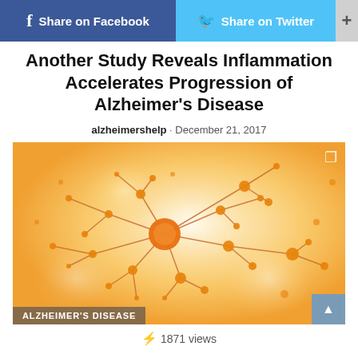Share on Facebook   Share on Twitter   +
Another Study Reveals Inflammation Accelerates Progression of Alzheimer's Disease
alzheimershelp · December 21, 2017
[Figure (illustration): Orange-toned illustration of a neuron with branching dendrites and orange spherical nodes on a warm glowing background. Overlay label reads ALZHEIMER'S DISEASE.]
⚡ 1871 views